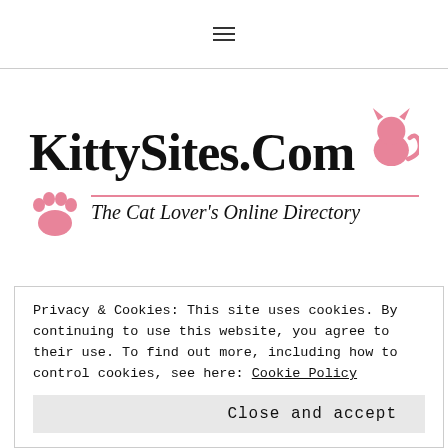≡
[Figure (logo): KittySites.Com logo with pink cat silhouette, pink paw print, pink horizontal line, and tagline 'The Cat Lover's Online Directory']
Privacy & Cookies: This site uses cookies. By continuing to use this website, you agree to their use. To find out more, including how to control cookies, see here: Cookie Policy
Close and accept